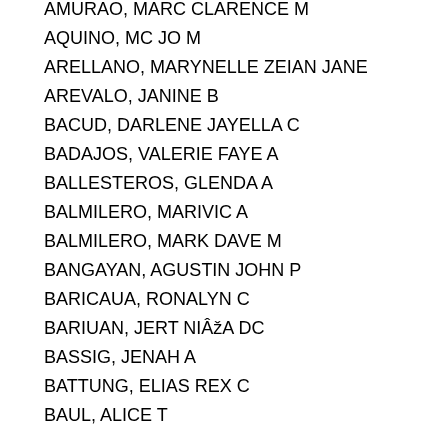AMURAO, MARC CLARENCE M
AQUINO, MC JO M
ARELLANO, MARYNELLE ZEIAN JANE
AREVALO, JANINE B
BACUD, DARLENE JAYELLA C
BADAJOS, VALERIE FAYE A
BALLESTEROS, GLENDA A
BALMILERO, MARIVIC A
BALMILERO, MARK DAVE M
BANGAYAN, AGUSTIN JOHN P
BARICAUA, RONALYN C
BARIUAN, JERT NIÂA DC
BASSIG, JENAH A
BATTUNG, ELIAS REX C
BAUL, ALICE T